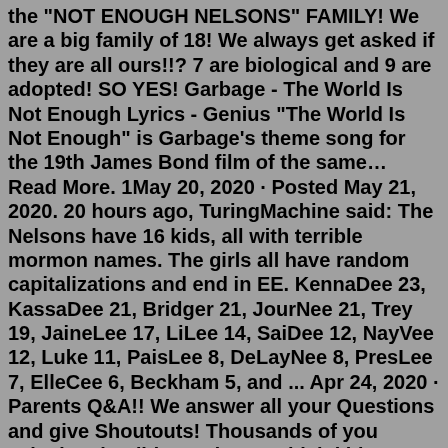the "NOT ENOUGH NELSONS" FAMILY! We are a big family of 18! We always get asked if they are all ours!!? 7 are biological and 9 are adopted! SO YES! Garbage - The World Is Not Enough Lyrics - Genius "The World Is Not Enough" is Garbage's theme song for the 19th James Bond film of the same… Read More. 1May 20, 2020 · Posted May 21, 2020. 20 hours ago, TuringMachine said: The Nelsons have 16 kids, all with terrible mormon names. The girls all have random capitalizations and end in EE. KennaDee 23, KassaDee 21, Bridger 21, JourNee 21, Trey 19, JaineLee 17, LiLee 14, SaiDee 12, NayVee 12, Luke 11, PaisLee 8, DeLayNee 8, PresLee 7, ElleCee 6, Beckham 5, and ... Apr 24, 2020 · Parents Q&A!! We answer all your Questions and give Shoutouts! Thousands of you asked...Why did we adopt? Which kids are Best Friends? Watch until the... When names such as "LDS Church," "Mormon Church," and "Church of Latter-day Saints" are used, the most glaring omission is the absence of the Savior's name, President Nelson said. "To remove the Lord's name